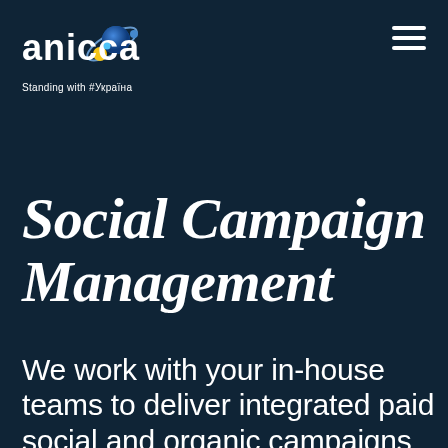[Figure (logo): Anicca logo with planet/orbit graphic and text 'anicca' in white bold sans-serif, with tagline 'Standing with #Україна' beneath]
Social Campaign Management
We work with your in-house teams to deliver integrated paid social and organic campaigns